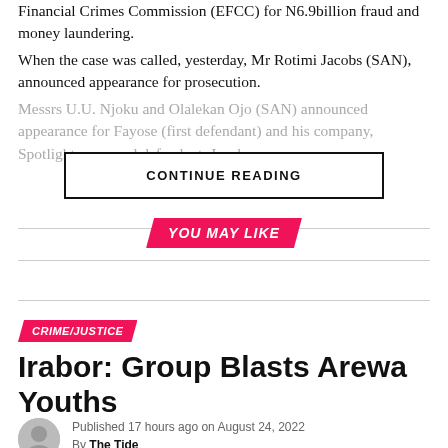Financial Crimes Commission (EFCC) for N6.9billion fraud and money laundering.
When the case was called, yesterday, Mr Rotimi Jacobs (SAN), announced appearance for prosecution.
Messrs U.U. Njoku and Olalekan Ojo (SAN) announced appearance for Fayose (first defendant) and his company, Spotlighton second defendant, Jacobs
CONTINUE READING
YOU MAY LIKE
CRIME/JUSTICE
Irabor: Group Blasts Arewa Youths
Published 17 hours ago on August 24, 2022
By The Tide